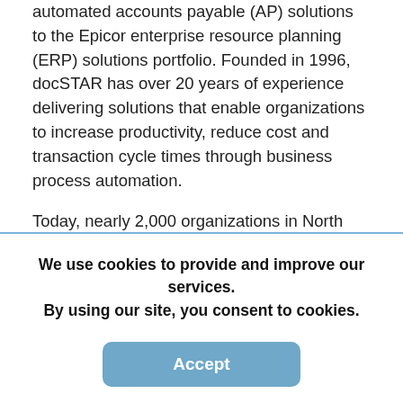automated accounts payable (AP) solutions to the Epicor enterprise resource planning (ERP) solutions portfolio. Founded in 1996, docSTAR has over 20 years of experience delivering solutions that enable organizations to increase productivity, reduce cost and transaction cycle times through business process automation.
Today, nearly 2,000 organizations in North America rely on docSTAR solutions—available as a cloud hosted service or on premises. docSTAR enables customers to
We use cookies to provide and improve our services. By using our site, you consent to cookies.
Accept
Learn more